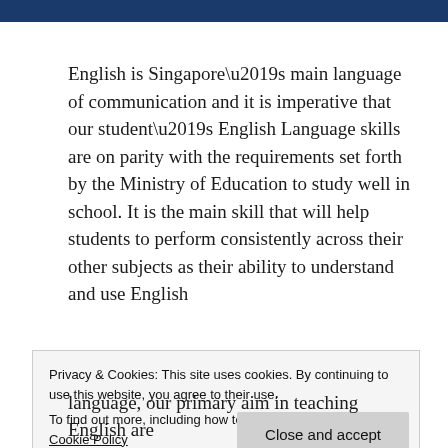English is Singapore’s main language of communication and it is imperative that our student’s English Language skills are on parity with the requirements set forth by the Ministry of Education to study well in school. It is the main skill that will help students to perform consistently across their other subjects as their ability to understand and use English
Privacy & Cookies: This site uses cookies. By continuing to use this website, you agree to their use.
To find out more, including how to control cookies, see here: Cookie Policy
language, our primary aim in teaching English are